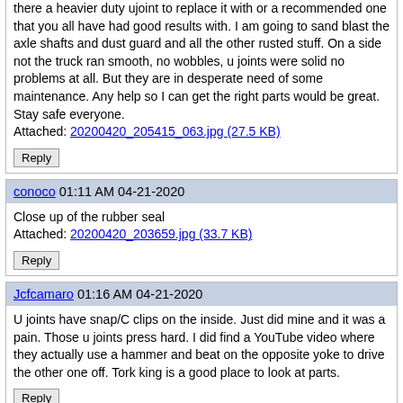there a heavier duty ujoint to replace it with or a recommended one that you all have had good results with. I am going to sand blast the axle shafts and dust guard and all the other rusted stuff. On a side not the truck ran smooth, no wobbles, u joints were solid no problems at all. But they are in desperate need of some maintenance. Any help so I can get the right parts would be great. Stay safe everyone.
Attached: 20200420_205415_063.jpg (27.5 KB)
Reply
conoco 01:11 AM 04-21-2020
Close up of the rubber seal
Attached: 20200420_203659.jpg (33.7 KB)
Reply
Jcfcamaro 01:16 AM 04-21-2020
U joints have snap/C clips on the inside. Just did mine and it was a pain. Those u joints press hard. I did find a YouTube video where they actually use a hammer and beat on the opposite yoke to drive the other one off. Tork king is a good place to look at parts.
Reply
Jcfcamaro 01:19 AM 04-21-2020
Originally Posted by Jcfcamaro: U joints have snap/C clips on the inside. Just did mine and it was a pain. Those u joints press hard. I did find a YouTube video where they actually use a